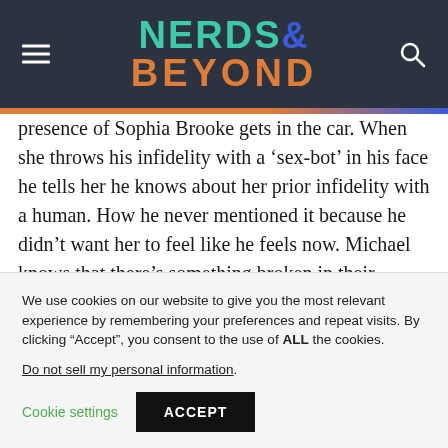NERDS& BEYOND
presence of Sophia Brooke gets in the car. When she throws his infidelity with a ‘sex-bot’ in his face he tells her he knows about her prior infidelity with a human. How he never mentioned it because he didn’t want her to feel like he feels now. Michael knows that there’s something broken in their relationship but he
We use cookies on our website to give you the most relevant experience by remembering your preferences and repeat visits. By clicking “Accept”, you consent to the use of ALL the cookies. Do not sell my personal information.
Cookie settings  ACCEPT